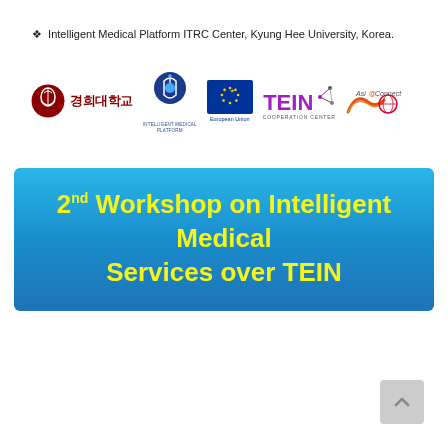Intelligent Medical Platform ITRC Center, Kyung Hee University, Korea.
[Figure (logo): Row of logos: Kyung Hee University (경희대학교), Intelligent Medical Platform (IMP), European Union, TEIN Cooperation Center, Asia@Connect]
2nd Workshop on Intelligent Medical Services over TEIN